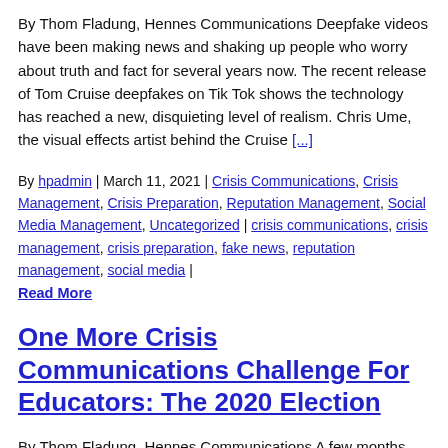By Thom Fladung, Hennes Communications Deepfake videos have been making news and shaking up people who worry about truth and fact for several years now. The recent release of Tom Cruise deepfakes on Tik Tok shows the technology has reached a new, disquieting level of realism. Chris Ume, the visual effects artist behind the Cruise [...]
By hpadmin | March 11, 2021 | Crisis Communications, Crisis Management, Crisis Preparation, Reputation Management, Social Media Management, Uncategorized | crisis communications, crisis management, crisis preparation, fake news, reputation management, social media |
Read More
One More Crisis Communications Challenge For Educators: The 2020 Election
By Thom Fladung, Hennes Communications A few months into a